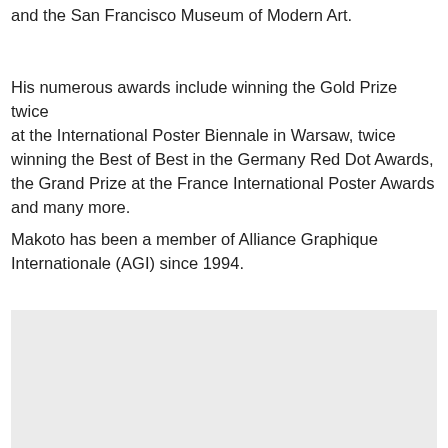and the San Francisco Museum of Modern Art.
His numerous awards include winning the Gold Prize twice at the International Poster Biennale in Warsaw, twice winning the Best of Best in the Germany Red Dot Awards, the Grand Prize at the France International Poster Awards and many more.
Makoto has been a member of Alliance Graphique Internationale (AGI) since 1994.
[Figure (photo): Light gray image placeholder block]